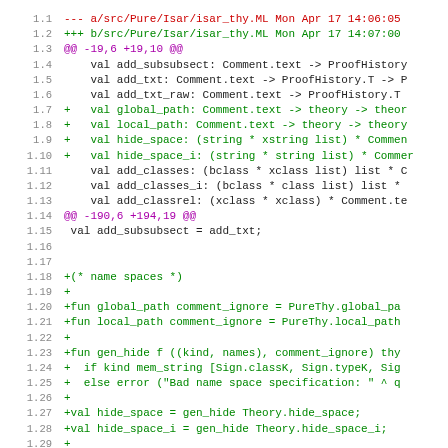[Figure (screenshot): Code diff view showing changes to isar_thy.ML file with line numbers 1.1 through 1.30, colored red for removed lines, green for added lines, purple for hunk headers, and black for context lines.]